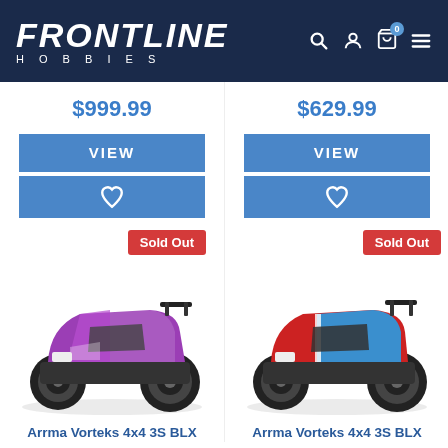Frontline Hobbies
$999.99
$629.99
VIEW
VIEW
Sold Out
Sold Out
[Figure (photo): Purple/pink Arrma Vorteks 4x4 3S BLX RC monster truck]
[Figure (photo): Red/blue Arrma Vorteks 4x4 3S BLX RC monster truck]
Arrma Vorteks 4x4 3S BLX
Arrma Vorteks 4x4 3S BLX